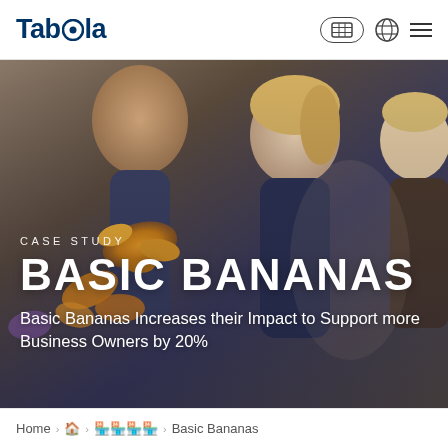Taboola — Navigation bar with logo and icons
[Figure (photo): Hero background photo showing people in a group setting wearing orange flower leis, with a dark blue and warm tone overlay]
CASE STUDY
BASIC BANANAS
Basic Bananas Increases their Impact to Support more Business Owners by 20%
Home › 🏠 › 🏪🏪🏪🏪 › Basic Bananas